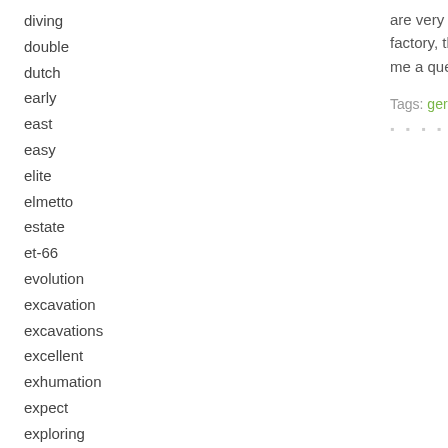diving
double
dutch
early
east
easy
elite
elmetto
estate
et-66
evolution
excavation
excavations
excellent
exhumation
expect
exploring
extra
are very high d... factory, the sec... me a question
Tags: german, h...